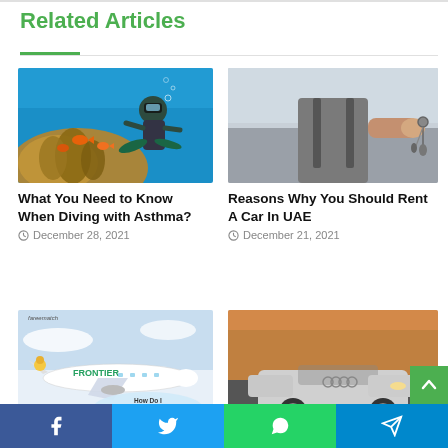Related Articles
[Figure (photo): Scuba diver swimming above coral reef with orange fish underwater]
What You Need to Know When Diving with Asthma?
December 28, 2021
[Figure (photo): Person in work clothes holding out car keys]
Reasons Why You Should Rent A Car In UAE
December 21, 2021
[Figure (photo): Frontier Airlines airplane with text: How Do I Contact Frontier Airlines]
[Figure (photo): Silver convertible Audi sports car on road at dusk]